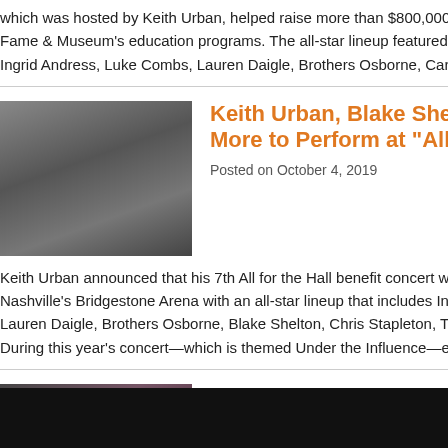which was hosted by Keith Urban, helped raise more than $800,000 for the Country Music Hall of Fame & Museum's education programs. The all-star lineup featured performers including Ingrid Andress, Luke Combs, Lauren Daigle, Brothers Osborne, Carly
[Figure (photo): Two musicians performing on stage with guitars, black and white/dark toned photo]
Keith Urban, Blake Shelton, Luke Combs, and More to Perform at "All for the Hall"
Posted on October 4, 2019
Keith Urban announced that his 7th All for the Hall benefit concert will be held at Nashville's Bridgestone Arena with an all-star lineup that includes Ingrid Andress, Lauren Daigle, Brothers Osborne, Blake Shelton, Chris Stapleton, Ten... During this year's concert—which is themed Under the Influence—each
[Figure (photo): Portrait of a female country music artist, colorful outfit, dark background]
Chris Stapleton, Pink, Norah Jones, Sh... Honor "2019 MusiCares Person of th...